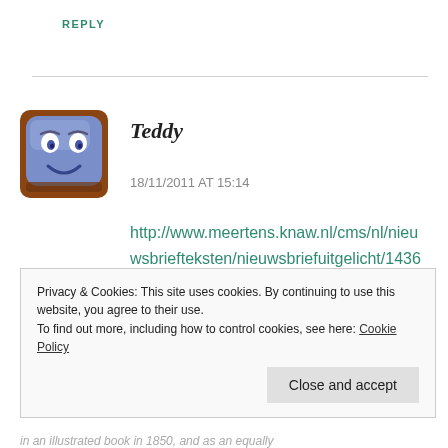REPLY
[Figure (illustration): Cartoon avatar of a blue rounded square face with eyes and a smile, brown border, used as a commenter profile picture]
Teddy
18/11/2011 AT 15:14
http://www.meertens.knaw.nl/cms/nl/nieuwsbriefteksten/nieuwsbriefuitgelicht/143677-de-oudst-bekende-naam-van-zwarte-piet-pieter-me-knecht-1850
Privacy & Cookies: This site uses cookies. By continuing to use this website, you agree to their use.
To find out more, including how to control cookies, see here: Cookie Policy
Close and accept
in an illustrated book in 1850, and as an equally